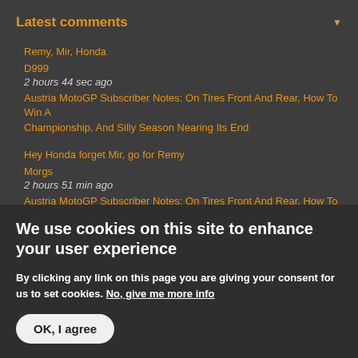Latest comments
Remy, Mir, Honda
D999
2 hours 44 sec ago
Austria MotoGP Subscriber Notes: On Tires Front And Rear, How To Win A Championship, And Silly Season Nearing Its End
Hey Honda forget Mir, go for Remy
Morgs
2 hours 51 min ago
Austria MotoGP Subscriber Notes: On Tires Front And Rear, How To Win A Championship, And Silly Season Nearing Its End
We use cookies on this site to enhance your user experience
By clicking any link on this page you are giving your consent for us to set cookies. No, give me more info
OK, I agree